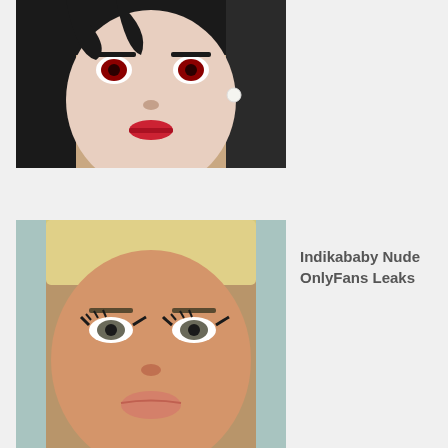[Figure (photo): Close-up portrait of a person with dark hair, red eyes (colored contacts), pale skin, and red lips, wearing a pearl earring. Anime-inspired aesthetic.]
[Figure (photo): Close-up portrait of a person with blonde bangs and blue-tinted hair, heavy eye makeup with cat-eye liner, and bronzed skin with full lips.]
Indikababy Nude OnlyFans Leaks